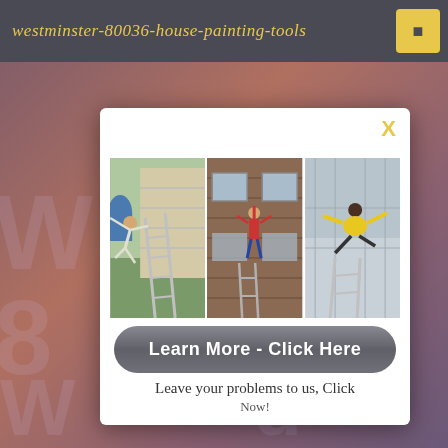westminster-80036-house-painting-tools
[Figure (screenshot): Modal popup overlay on a blurred background page about westminster-80036-house-painting-tools. The modal contains three photos of people falling or doing dangerous stunts on ladders near houses, a 'Learn More - Click Here' button, and tagline text. Background shows large watermark text of the page title.]
Learn More - Click Here
Leave your problems to us, Click Now!